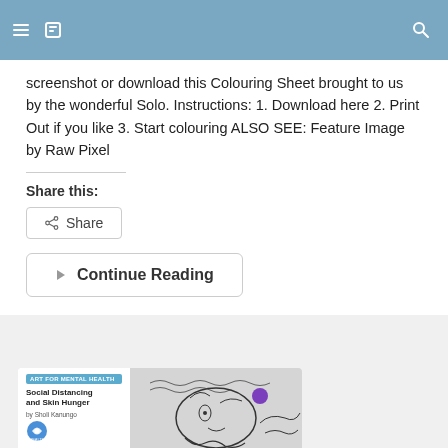Navigation bar with menu and search icons
screenshot or download this Colouring Sheet brought to us by the wonderful Solo. Instructions: 1. Download here 2. Print Out if you like 3. Start colouring ALSO SEE: Feature Image by Raw Pixel
Share this:
Share
Continue Reading
[Figure (screenshot): Article card thumbnail for 'Social Distancing and Skin Hunger by Sholi Kanungo' under ART FOR MENTAL HEALTH section, with a black and white sketch illustration on the right side]